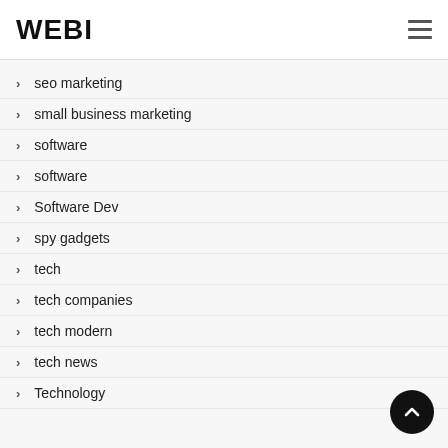WEBI
seo marketing
small business marketing
software
software
Software Dev
spy gadgets
tech
tech companies
tech modern
tech news
Technology